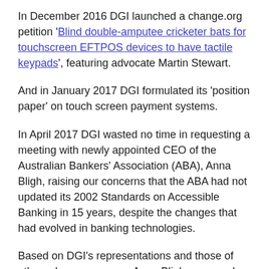In December 2016 DGI launched a change.org petition 'Blind double-amputee cricketer bats for touchscreen EFTPOS devices to have tactile keypads', featuring advocate Martin Stewart.
And in January 2017 DGI formulated its 'position paper' on touch screen payment systems.
In April 2017 DGI wasted no time in requesting a meeting with newly appointed CEO of the Australian Bankers' Association (ABA), Anna Bligh, raising our concerns that the ABA had not updated its 2002 Standards on Accessible Banking in 15 years, despite the changes that had evolved in banking technologies.
Based on DGI's representations and those of other advocacy groups, Anna Bligh convened a round table on accessible banking, in which DGI participated. This review culminated in the banking industry adopting the [truncated]